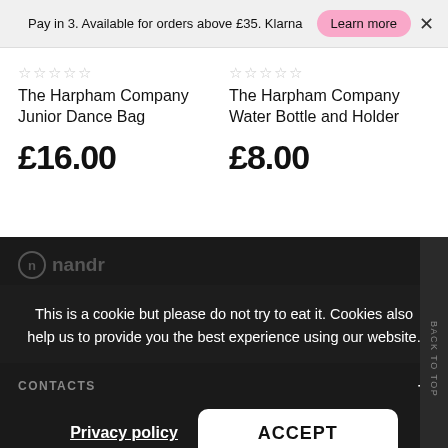Pay in 3. Available for orders above £35. Klarna  Learn more  ×
☆☆☆☆☆
The Harpham Company Junior Dance Bag
£16.00
☆☆☆☆☆
The Harpham Company Water Bottle and Holder
£8.00
This is a cookie but please do not try to eat it. Cookies also help us to provide you the best experience using our website.
CONTACTS
Privacy policy
ACCEPT
OUR COMPANY